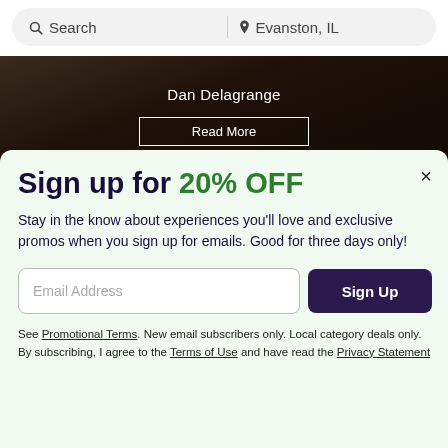Search | Evanston, IL
[Figure (photo): Dark photo of people, with 'Dan Delagrange' text overlay and 'Read More' button]
Sign up for 20% OFF
Stay in the know about experiences you'll love and exclusive promos when you sign up for emails. Good for three days only!
Email Address [input field] Sign Up [button]
See Promotional Terms. New email subscribers only. Local category deals only. By subscribing, I agree to the Terms of Use and have read the Privacy Statement